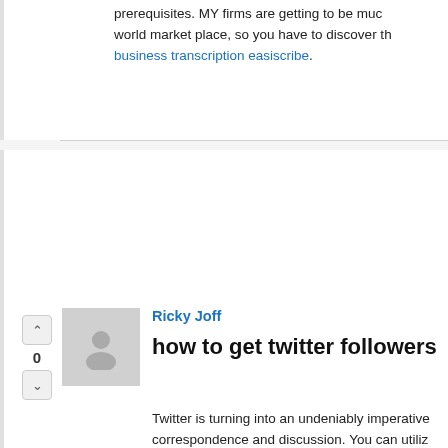prerequisites. MY firms are getting to be much more competitive in the world market place, so you have to discover the business transcription easiscribe.
Ricky Joff
how to get twitter followers
Twitter is turning into an undeniably imperative device for correspondence and discussion. You can utilize Twitter to share upgrades about your organization or items, its an incredible path to acquire leads, opportunities and deals to your site. The more adherents you have, the more achievements... buy twitter followers account in its part as a powerful... basic actuality is the speediest approach to expand adherents on your Twitter record is to purchase them in the... no doubt beats attempting to include them physically... need to purchase buy twitter followersto help